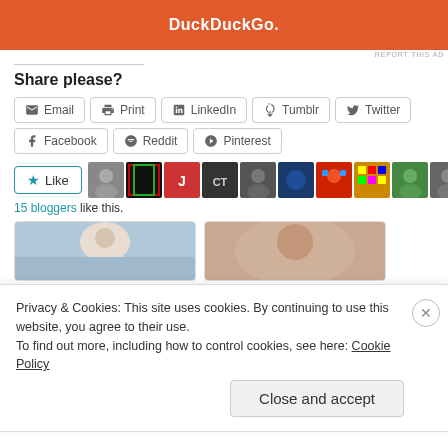[Figure (screenshot): DuckDuckGo advertisement banner with orange sides and dark center showing 'DuckDuckGo.' text in white]
REPORT THIS AD
Share please?
Email  Print  LinkedIn  Tumblr  Twitter
Facebook  Reddit  Pinterest
[Figure (screenshot): Like button with star icon and row of blogger avatar thumbnails. Text: 15 bloggers like this.]
15 bloggers like this.
[Figure (screenshot): Two related post thumbnails: a man standing in water, and a blurred face close-up]
Privacy & Cookies: This site uses cookies. By continuing to use this website, you agree to their use.
To find out more, including how to control cookies, see here: Cookie Policy
Close and accept